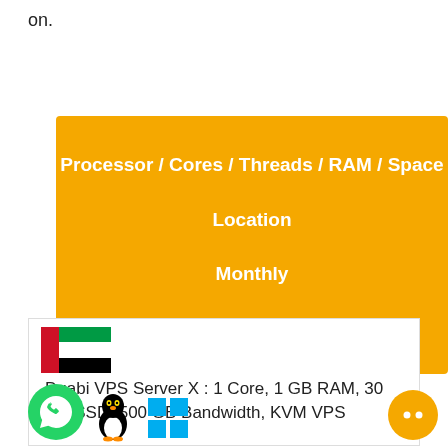on.
| Processor / Cores / Threads / RAM / Space | Location | Monthly | Action |
| --- | --- | --- | --- |
| Duabi VPS Server X : 1 Core, 1 GB RAM, 30 GB SSD, 500 GB Bandwidth, KVM VPS |  |  |  |
[Figure (illustration): UAE flag icon, WhatsApp icon, Linux penguin icon, Windows logo icon, orange chat bubble icon]